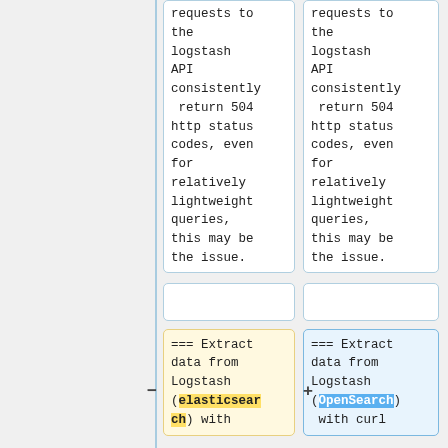requests to the logstash API consistently return 504 http status codes, even for relatively lightweight queries, this may be the issue.
requests to the logstash API consistently return 504 http status codes, even for relatively lightweight queries, this may be the issue.
=== Extract data from Logstash (elasticsearch) with
=== Extract data from Logstash (OpenSearch) with curl